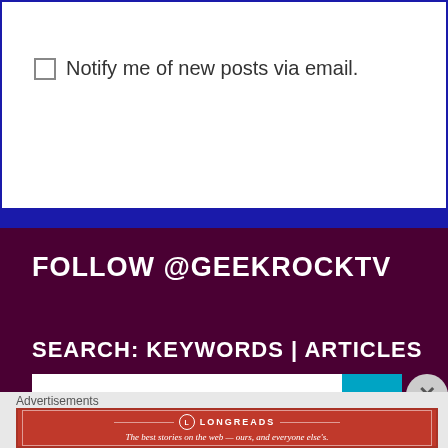Notify me of new posts via email.
FOLLOW @GEEKROCKTV
SEARCH: KEYWORDS | ARTICLES
Advertisements
[Figure (other): Longreads advertisement banner: 'The best stories on the web — ours, and everyone else's.']